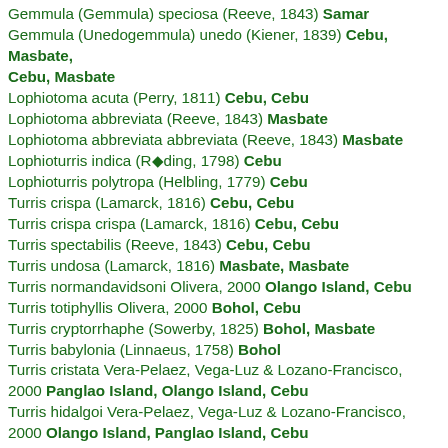Gemmula (Gemmula) speciosa (Reeve, 1843) Samar
Gemmula (Unedogemmula) unedo (Kiener, 1839) Cebu, Masbate, Cebu, Masbate
Lophiotoma acuta (Perry, 1811) Cebu, Cebu
Lophiotoma abbreviata (Reeve, 1843) Masbate
Lophiotoma abbreviata abbreviata (Reeve, 1843) Masbate
Lophioturris indica (Röding, 1798) Cebu
Lophioturris polytropa (Helbling, 1779) Cebu
Turris crispa (Lamarck, 1816) Cebu, Cebu
Turris crispa crispa (Lamarck, 1816) Cebu, Cebu
Turris spectabilis (Reeve, 1843) Cebu, Cebu
Turris undosa (Lamarck, 1816) Masbate, Masbate
Turris normandavidsoni Olivera, 2000 Olango Island, Cebu
Turris totiphyllis Olivera, 2000 Bohol, Cebu
Turris cryptorrhaphe (Sowerby, 1825) Bohol, Masbate
Turris babylonia (Linnaeus, 1758) Bohol
Turris cristata Vera-Pelaez, Vega-Luz & Lozano-Francisco, 2000 Panglao Island, Olango Island, Cebu
Turris hidalgoi Vera-Pelaez, Vega-Luz & Lozano-Francisco, 2000 Olango Island, Panglao Island, Cebu
Turris omnipurpurata VeraPelaez, Vega-Luz, Lozano-Francisco, 2000 Panglao Island
Turris kilburni Vera-Pelaez, Vega-Luz & Lozano-Francisco, 2000 Panglao Island, Panglao Island
Eucithara novaehollandiae (Reeve, 1846) Bohol, Ticao Island